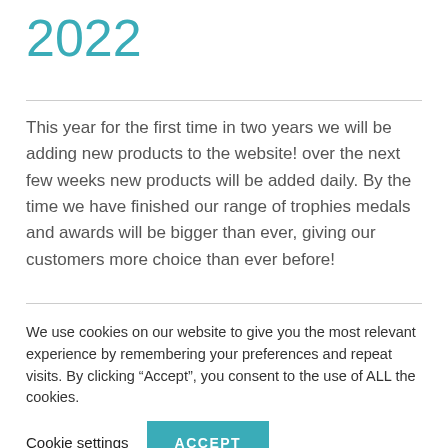2022
This year for the first time in two years we will be adding new products to the website! over the next few weeks new products will be added daily. By the time we have finished our range of trophies medals and awards will be bigger than ever, giving our customers more choice than ever before!
We use cookies on our website to give you the most relevant experience by remembering your preferences and repeat visits. By clicking “Accept”, you consent to the use of ALL the cookies.
Cookie settings  ACCEPT